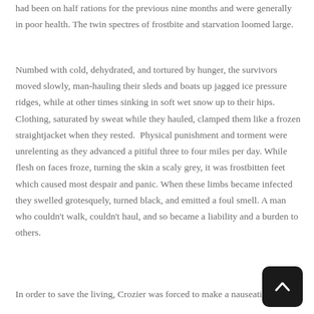had been on half rations for the previous nine months and were generally in poor health. The twin spectres of frostbite and starvation loomed large.
Numbed with cold, dehydrated, and tortured by hunger, the survivors moved slowly, man-hauling their sleds and boats up jagged ice pressure ridges, while at other times sinking in soft wet snow up to their hips. Clothing, saturated by sweat while they hauled, clamped them like a frozen straightjacket when they rested.  Physical punishment and torment were unrelenting as they advanced a pitiful three to four miles per day. While flesh on faces froze, turning the skin a scaly grey, it was frostbitten feet which caused most despair and panic. When these limbs became infected they swelled grotesquely, turned black, and emitted a foul smell. A man who couldn't walk, couldn't haul, and so became a liability and a burden to others.
In order to save the living, Crozier was forced to make a nauseating